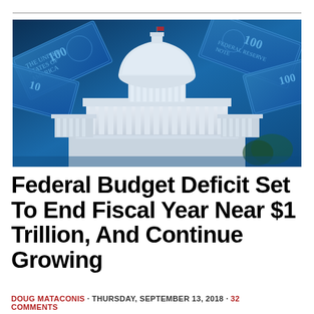[Figure (photo): US Capitol building with blue-tinted background showing large dollar bills scattered around the dome, composite photo illustrating federal budget and money]
Federal Budget Deficit Set To End Fiscal Year Near $1 Trillion, And Continue Growing
DOUG MATACONIS · THURSDAY, SEPTEMBER 13, 2018 · 32 COMMENTS